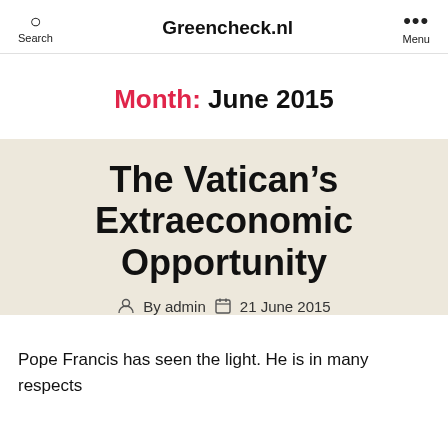Greencheck.nl
Month: June 2015
The Vatican's Extraeconomic Opportunity
By admin  21 June 2015
Pope Francis has seen the light. He is in many respects